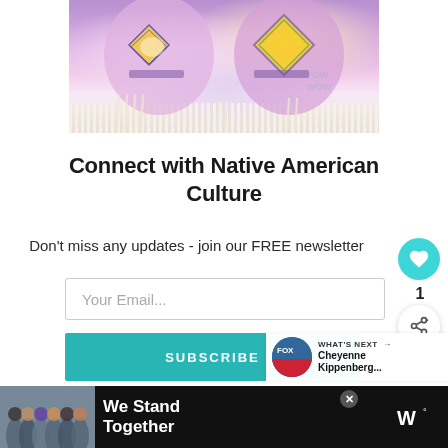[Figure (photo): Close-up photograph of colorful Native American regalia/costumes with beadwork in purple/pink tones and decorative diamond patterns with fringe]
Connect with Native American Culture
Don't miss any updates - join our FREE newsletter
Your Email...
SUBSCRIBE
I consent to receiving emails and personalized ads.
[Figure (screenshot): What's Next panel showing thumbnail and text: Cheyenne Kippenberg...]
[Figure (photo): Advertisement banner: We Stand Together with group photo and logo]